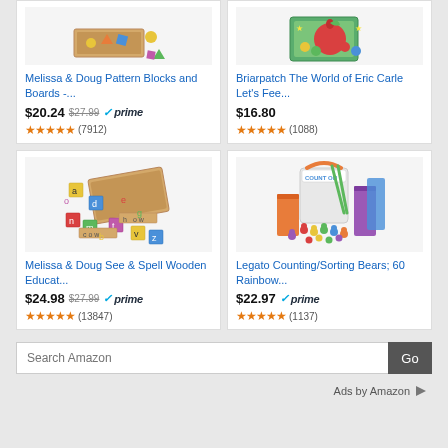[Figure (screenshot): Amazon product ad widget showing 4 educational toy products with prices, ratings, and a search bar]
Melissa & Doug Pattern Blocks and Boards -...
$20.24  $27.99  prime  (7912)
Briarpatch The World of Eric Carle Let's Fee...
$16.80  (1088)
Melissa & Doug See & Spell Wooden Educat...
$24.98  $27.99  prime  (13847)
Legato Counting/Sorting Bears; 60 Rainbow...
$22.97  prime  (1137)
Search Amazon
Ads by Amazon